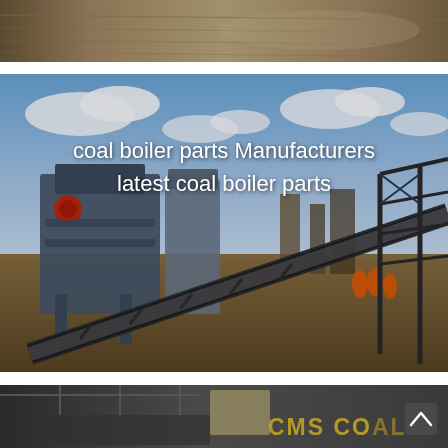[Figure (photo): Top strip showing aerial/overhead view of a field or flat terrain, grey-brown tones, panoramic strip.]
[Figure (photo): Main central image of a coal processing plant facility showing industrial conveyor belts, crushers, steel structures, workers in orange safety vests, under a partly cloudy sky.]
coal boiler parts Manufacturers latest coal boiler parts
[Figure (photo): Bottom strip showing interior of an industrial building/warehouse with steel trusses and machinery, partially visible text 'CMS COAL' in gold/yellow letters on the right side, with a navigation up-arrow icon.]